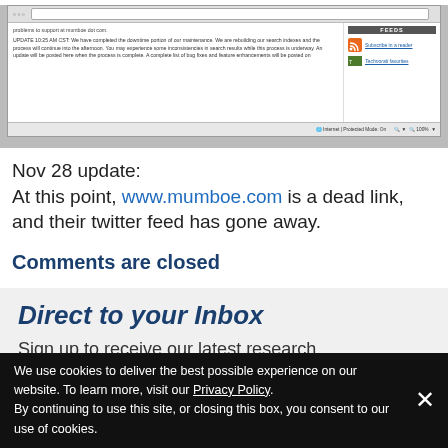[Figure (screenshot): Browser screenshot showing a webpage with text about mumboe.com maintenance update, RSS feed sidebar with subscribe link and Technorati favorites, and browser status bar showing Internet Protected Mode: On at 100%]
Nov 28 update:
At this point, www.mumboe.com is a dead link, and their twitter feed has gone away.
Comments are closed
Direct to your Inbox
Sign up to receive our latest research
We use cookies to deliver the best possible experience on our website. To learn more, visit our Privacy Policy. By continuing to use this site, or closing this box, you consent to our use of cookies.